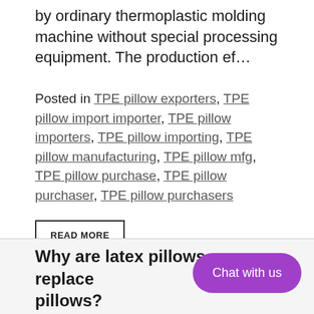by ordinary thermoplastic molding machine without special processing equipment. The production ef…
Posted in TPE pillow exporters, TPE pillow import importer, TPE pillow importers, TPE pillow importing, TPE pillow manufacturing, TPE pillow mfg, TPE pillow purchase, TPE pillow purchaser, TPE pillow purchasers
READ MORE
Why are latex pillows replaced by TPE pillows?
Chat with us